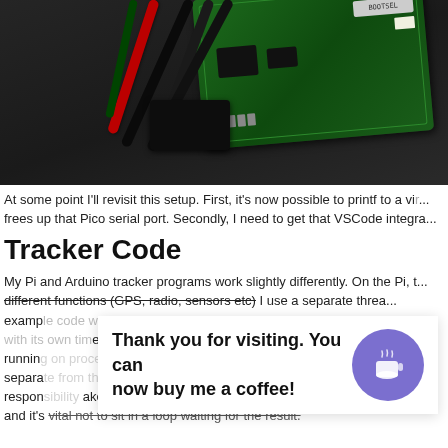[Figure (photo): Close-up photo of a green PCB (Raspberry Pi Pico or similar microcontroller board) with black connector cables and a red wire attached, on a dark background surface.]
At some point I'll revisit this setup. First, it's now possible to printf to a vi... frees up that Pico serial port. Secondly, I need to get that VSCode integra...
Tracker Code
My Pi and Arduino tracker programs work slightly differently. On the Pi, t... different functions (GPS, radio, sensors etc) I use a separate threa... examp... er without delay, runnin... o thread availab... separa... wi... ng respon... ake... d or... and it's vital not to sit in a loop waiting for the result.
[Figure (other): Thank you for visiting popup overlay with coffee button. Text reads: 'Thank you for visiting. You can now buy me a coffee!' with a purple circular coffee cup icon button.]